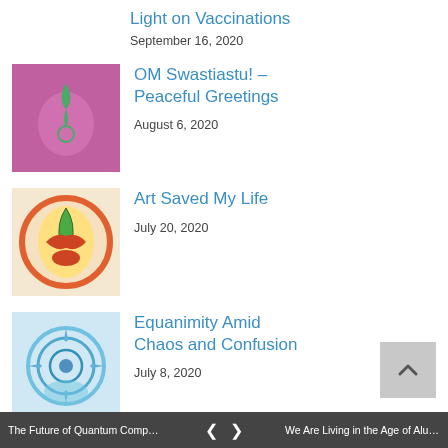Light on Vaccinations
September 16, 2020
OM Swastiastu! – Peaceful Greetings
August 6, 2020
Art Saved My Life
July 20, 2020
Equanimity Amid Chaos and Confusion
July 8, 2020
The Future of Teaching Art
April 22, 2020
The Future of Quantum Comput... < > We Are Living in the Age of Alum...